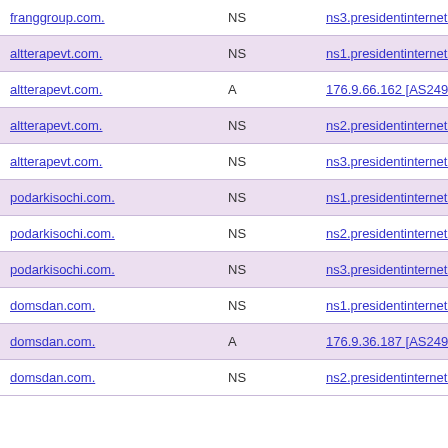| Domain | Type | Value |
| --- | --- | --- |
| franggroup.com. | NS | ns3.presidentinternet.org |
| altterapevt.com. | NS | ns1.presidentinternet.org |
| altterapevt.com. | A | 176.9.66.162 [AS24940][... |
| altterapevt.com. | NS | ns2.presidentinternet.org |
| altterapevt.com. | NS | ns3.presidentinternet.org |
| podarkisochi.com. | NS | ns1.presidentinternet.org |
| podarkisochi.com. | NS | ns2.presidentinternet.org |
| podarkisochi.com. | NS | ns3.presidentinternet.org |
| domsdan.com. | NS | ns1.presidentinternet.org |
| domsdan.com. | A | 176.9.36.187 [AS24940][... |
| domsdan.com. | NS | ns2.presidentinternet.org |